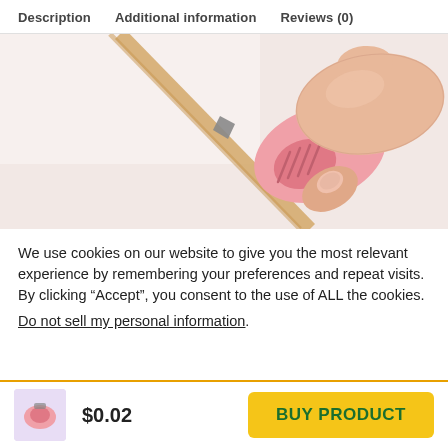Description   Additional information   Reviews (0)
[Figure (photo): Close-up photo of a hand holding a small pink utility/craft knife cutting tool against a light pink surface]
We use cookies on our website to give you the most relevant experience by remembering your preferences and repeat visits. By clicking “Accept”, you consent to the use of ALL the cookies.
Do not sell my personal information.
[Figure (photo): Small thumbnail image of product in footer bar]
$0.02
BUY PRODUCT